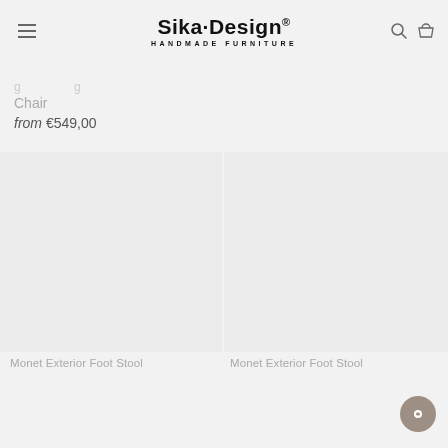Sika·Design® HANDMADE FURNITURE
Chair
from €549,00
[Figure (photo): Product image area for Monet Exterior Foot Stool (left), light gray background]
Monet Exterior Foot Stool
[Figure (photo): Product image area for Monet Exterior Foot Stool (right), light gray background]
Monet Exterior Foot Stool